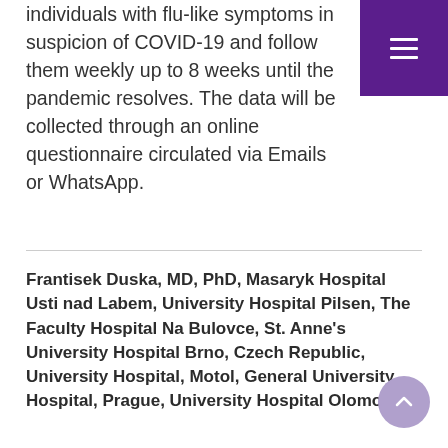individuals with flu-like symptoms in suspicion of COVID-19 and follow them weekly up to 8 weeks until the pandemic resolves. The data will be collected through an online questionnaire circulated via Emails or WhatsApp.
Frantisek Duska, MD, PhD, Masaryk Hospital Usti nad Labem, University Hospital Pilsen, The Faculty Hospital Na Bulovce, St. Anne's University Hospital Brno, Czech Republic, University Hospital, Motol, General University Hospital, Prague, University Hospital Olomouc
Azithromycin Added to Hydrochloroquine in Patients Admitted to Intensive Care With COVID-19: Randomised Controlled Trial
Conditions: COVID-19, Respiratory Failure
Trial design: Prospective, multi-centre, randomised, pragmatic, double blind trial Methods: Participants: